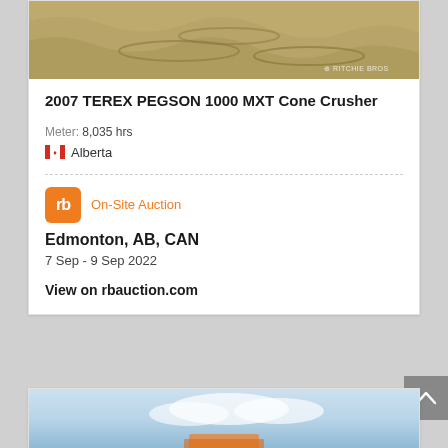[Figure (photo): Sandy ground with tire tracks, Ritchie Bros watermark visible in bottom right]
2007 TEREX PEGSON 1000 MXT Cone Crusher
Meter: 8,035 hrs
Alberta
On-Site Auction
Edmonton, AB, CAN
7 Sep - 9 Sep 2022
View on rbauction.com
[Figure (photo): Partial view of heavy equipment against cloudy sky background]